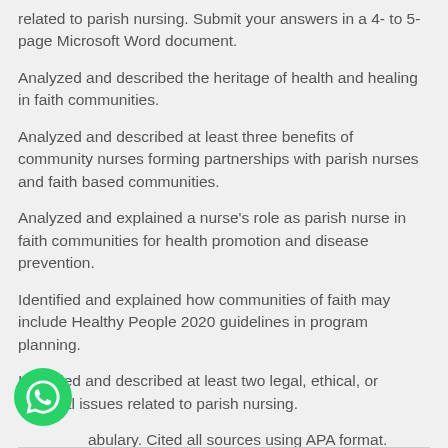related to parish nursing. Submit your answers in a 4- to 5-page Microsoft Word document.
Analyzed and described the heritage of health and healing in faith communities.
Analyzed and described at least three benefits of community nurses forming partnerships with parish nurses and faith based communities.
Analyzed and explained a nurse's role as parish nurse in faith communities for health promotion and disease prevention.
Identified and explained how communities of faith may include Healthy People 2020 guidelines in program planning.
Identified and described at least two legal, ethical, or financial issues related to parish nursing.
Used correct spelling, grammar, and professional vocabulary. Cited all sources using APA format.